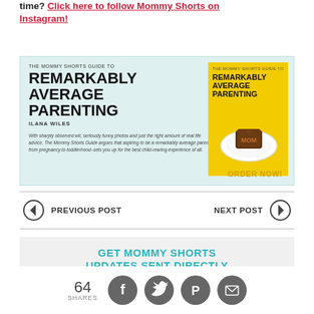time? Click here to follow Mommy Shorts on Instagram!
[Figure (illustration): Book advertisement banner for 'The Mommy Shorts Guide to Remarkably Average Parenting' by Ilana Wiles, with light blue background and yellow book cover showing a brownie/cake on a plate. Includes description text and ORDER NOW! call to action.]
PREVIOUS POST
NEXT POST
GET MOMMY SHORTS UPDATES SENT DIRECTLY TO YOUR INBOX!
YOUR EMAIL ADDRESS
64 SHARES